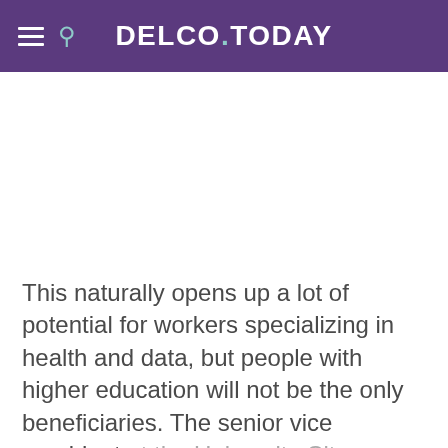DELCO.TODAY
This naturally opens up a lot of potential for workers specializing in health and data, but people with higher education will not be the only beneficiaries. The senior vice president at the University City Science Center, Saul Behar, said that Philadelphia residents of all